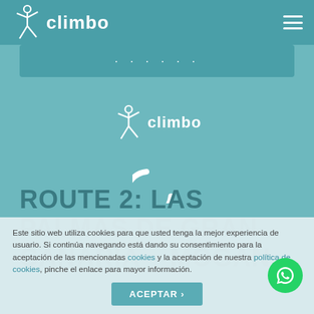climbo
[Figure (logo): Climbo stick-figure logo with text 'climbo' in white, centered on teal background]
[Figure (illustration): Loading spinner arc (partial circle) in white on teal background]
ROUTE 2: LAS PALMAS DE GRAN CANARIA – MOGÁN
Este sitio web utiliza cookies para que usted tenga la mejor experiencia de usuario. Si continúa navegando está dando su consentimiento para la aceptación de las mencionadas cookies y la aceptación de nuestra política de cookies, pinche el enlace para mayor información.
ACEPTAR